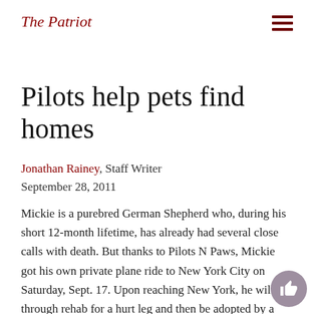The Patriot
Pilots help pets find homes
Jonathan Rainey, Staff Writer
September 28, 2011
Mickie is a purebred German Shepherd who, during his short 12-month lifetime, has already had several close calls with death. But thanks to Pilots N Paws, Mickie got his own private plane ride to New York City on Saturday, Sept. 17. Upon reaching New York, he will go through rehab for a hurt leg and then be adopted by a loving family.